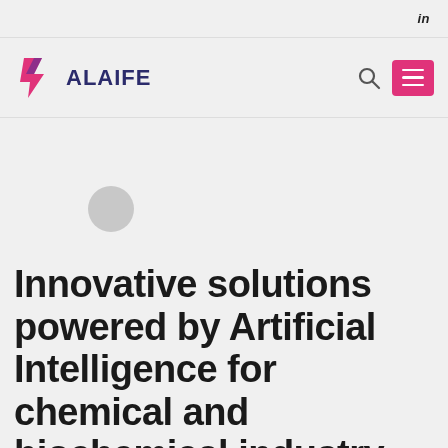in
[Figure (logo): Alaife company logo with a stylized magenta/purple arrow-like symbol and the text ALAIFE in dark navy]
[Figure (other): Navigation bar with search icon and magenta hamburger menu button]
[Figure (other): Light gray decorative circle element in the hero section]
Innovative solutions powered by Artificial Intelligence for chemical and biochemical industry